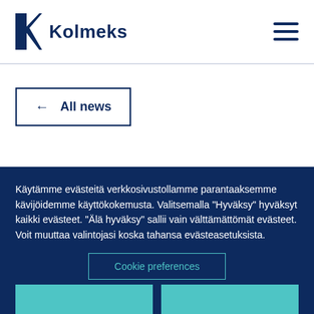Kolmeks
[Figure (logo): Kolmeks logo with stylized K icon and Kolmeks wordmark in dark navy blue]
← All news
Käytämme evästeitä verkkosivustollamme parantaaksemme kävijöidemme käyttökokemusta. Valitsemalla "Hyväksy" hyväksyt kaikki evästeet. "Älä hyväksy" sallii vain välttämättömät evästeet. Voit muuttaa valintojasi koska tahansa evästeasetuksista.
Cookie preferences